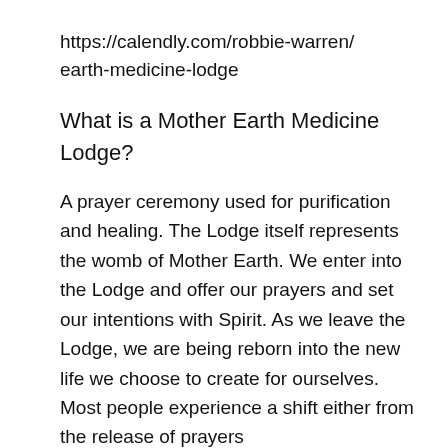https://calendly.com/robbie-warren/earth-medicine-lodge
What is a Mother Earth Medicine Lodge?
A prayer ceremony used for purification and healing. The Lodge itself represents the womb of Mother Earth. We enter into the Lodge and offer our prayers and set our intentions with Spirit. As we leave the Lodge, we are being reborn into the new life we choose to create for ourselves. Most people experience a shift either from the release of prayers